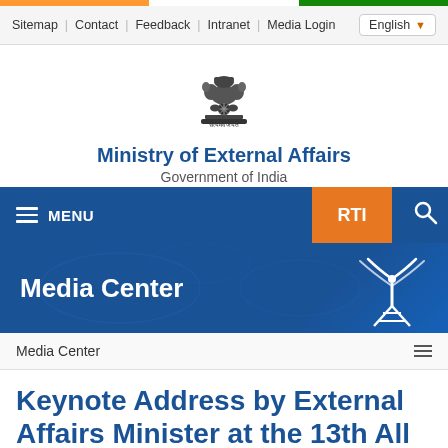Sitemap | Contact | Feedback | Intranet | Media Login  English
[Figure (logo): Ashoka Pillar emblem of India with Sanskrit text 'Satyameva Jayate']
Ministry of External Affairs
Government of India
MENU  RTI
Media Center
Media Center
Keynote Address by External Affairs Minister at the 13th All India Conference of China Studies